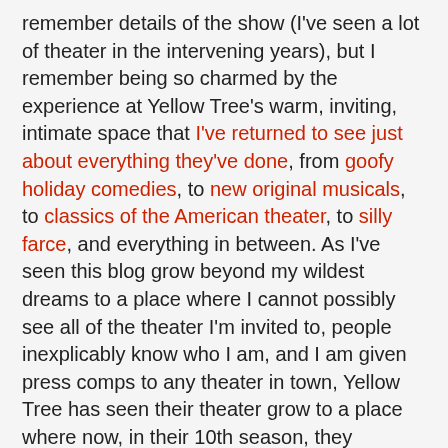remember details of the show (I've seen a lot of theater in the intervening years), but I remember being so charmed by the experience at Yellow Tree's warm, inviting, intimate space that I've returned to see just about everything they've done, from goofy holiday comedies, to new original musicals, to classics of the American theater, to silly farce, and everything in between. As I've seen this blog grow beyond my wildest dreams to a place where I cannot possibly see all of the theater I'm invited to, people inexplicably know who I am, and I am given press comps to any theater in town, Yellow Tree has seen their theater grow to a place where now, in their 10th season, they consistently sell out shows, attract some of the top talent in #TCTheater, and have increased diversity of programming and artists. To celebrate, they're bringing back String, written by Yellow Tree co-founder Jessica Lind Peterson and co-starring her and her husband and co-founder Jason Peterson, their first time on stage together in years. If you're a Yellow Tree fan, it's a wonderful opportunity to celebrate this full circle moment with them, and if you've never been to Yellow Tree, it's time to make the (not that long) drive to the Northwest suburbs to see this charming, funny, quirky, sweet little play that started